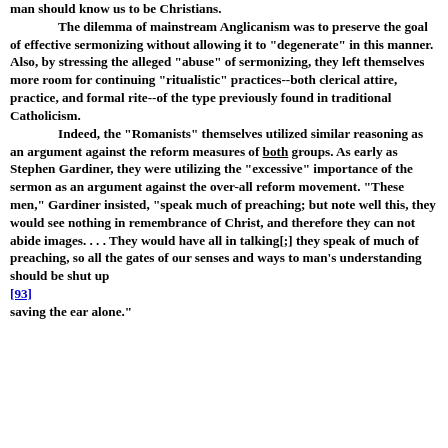man should know us to be Christians. The dilemma of mainstream Anglicanism was to preserve the goal of effective sermonizing without allowing it to "degenerate" in this manner. Also, by stressing the alleged "abuse" of sermonizing, they left themselves more room for continuing "ritualistic" practices--both clerical attire, practice, and formal rite--of the type previously found in traditional Catholicism. Indeed, the "Romanists" themselves utilized similar reasoning as an argument against the reform measures of both groups. As early as Stephen Gardiner, they were utilizing the "excessive" importance of the sermon as an argument against the over-all reform movement. "These men," Gardiner insisted, "speak much of preaching; but note well this, they would see nothing in remembrance of Christ, and therefore they can not abide images. . . . They would have all in talking[;] they speak of much of preaching, so all the gates of our senses and ways to man's understanding should be shut up [93] saving the ear alone."